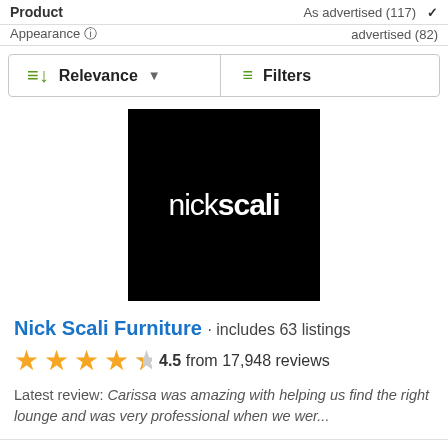Product   · As advertised (117)   Appearance ⓘ   advertised (82)
≡↓ Relevance ▾   ≡ Filters
[Figure (logo): Nick Scali logo: white text 'nick scali' on black square background]
Nick Scali Furniture · includes 63 listings
★★★★½ 4.5 from 17,948 reviews
Latest review: Carissa was amazing with helping us find the right lounge and was very professional when we wer...
Review Summary
Product Quality   ●●●●◐  4.5 (7,661)